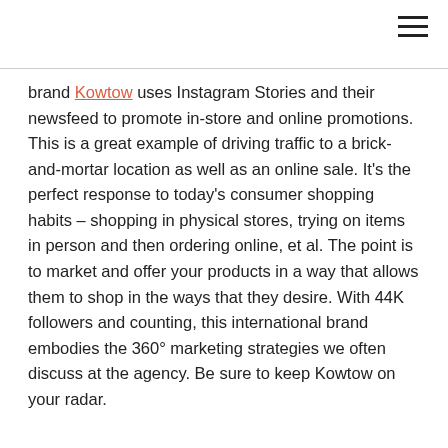brand Kowtow uses Instagram Stories and their newsfeed to promote in-store and online promotions. This is a great example of driving traffic to a brick-and-mortar location as well as an online sale. It's the perfect response to today's consumer shopping habits – shopping in physical stores, trying on items in person and then ordering online, et al. The point is to market and offer your products in a way that allows them to shop in the ways that they desire. With 44K followers and counting, this international brand embodies the 360° marketing strategies we often discuss at the agency. Be sure to keep Kowtow on your radar.